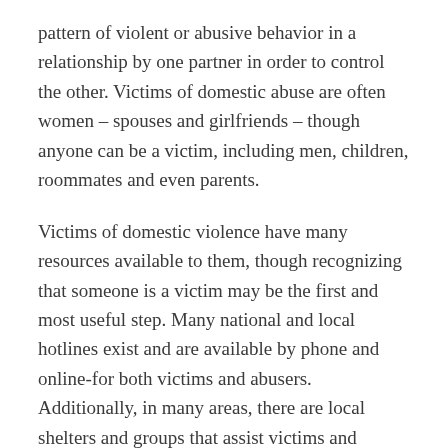pattern of violent or abusive behavior in a relationship by one partner in order to control the other. Victims of domestic abuse are often women – spouses and girlfriends – though anyone can be a victim, including men, children, roommates and even parents.
Victims of domestic violence have many resources available to them, though recognizing that someone is a victim may be the first and most useful step. Many national and local hotlines exist and are available by phone and online-for both victims and abusers. Additionally, in many areas, there are local shelters and groups that assist victims and families. Victims can also seek a temporary restraining order (TRO) or emergency protective order through the courts.
It is very important to remember that the courts...